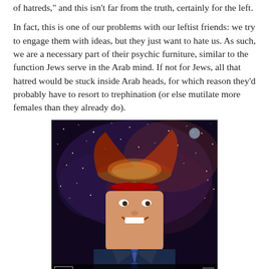of hatreds," and this isn't far from the truth, certainly for the left.
In fact, this is one of our problems with our leftist friends: we try to engage them with ideas, but they just want to hate us. As such, we are a necessary part of their psychic furniture, similar to the function Jews serve in the Arab mind. If not for Jews, all that hatred would be stuck inside Arab heads, for which reason they'd probably have to resort to trephination (or else mutilate more females than they already do).
[Figure (photo): Satirical photo-illustration of Chris Matthews with an open-top head revealing space imagery, wearing a beret with a green gem, labeled 'Chris Matthews Softballs' with NBC logo.]
Men serve the same function for self-hating feminists, as do corporations for the envious, or imaginary racists for race-obsessed liberals. You wouldn't want to be stuck inside Chris Matthews' head -- I know, full stop -- if there were no outlet for all that rage. But Republicans oblige him.